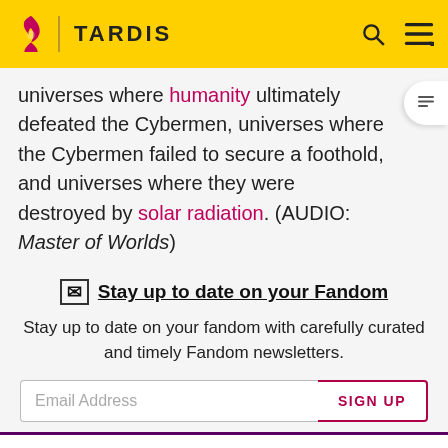TARDIS
universes where humanity ultimately defeated the Cybermen, universes where the Cybermen failed to secure a foothold, and universes where they were destroyed by solar radiation. (AUDIO: Master of Worlds)
Stay up to date on your Fandom
Stay up to date on your fandom with carefully curated and timely Fandom newsletters.
Email Address  SIGN UP
Spoilers are precisely defined here. Rules vary by the story's medium. Info from television stories can't be added here
READ MORE